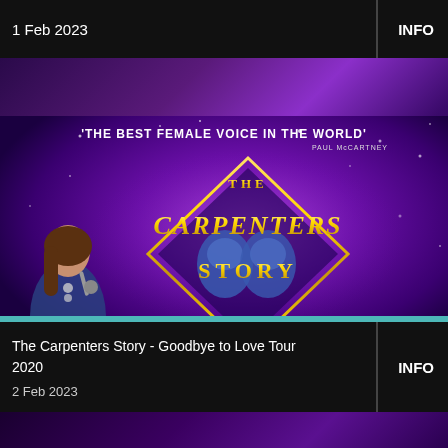1 Feb 2023
INFO
[Figure (photo): The Carpenters Story promotional image showing a female singer performing with microphone on the left, a diamond-shaped logo reading 'The Carpenters Story' in gold lettering in the center, two faces (Karen and Richard Carpenter) in blue tones inside the diamond, against a purple/violet sparkling background. Text at top reads 'THE BEST FEMALE VOICE IN THE WORLD' - PAUL McCARTNEY. Bottom text: 'A MUSICAL JOURNEY THROUGH THE GLITTERING CAREER OF POP'S MOST FAMOUS BROTHER & SISTER DUO!']
The Carpenters Story - Goodbye to Love Tour 2020
INFO
2 Feb 2023
[Figure (photo): Bottom of page showing 'MANIA' text in large illuminated dot-matrix style yellow/gold letters against a dark purple background, with silhouettes of performers visible on the right side]